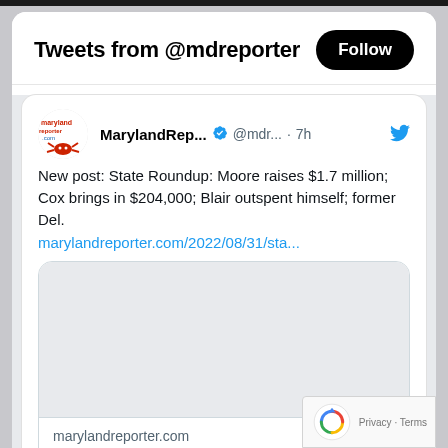Tweets from @mdreporter
MarylandRep... @mdr... · 7h
New post: State Roundup: Moore raises $1.7 million; Cox brings in $204,000; Blair outspent himself; former Del.
marylandreporter.com/2022/08/31/sta...
[Figure (screenshot): Empty light gray image preview box]
marylandreporter.com
State Roundup: Moore raises $1.7 million; Cox brings in $204,000; ...